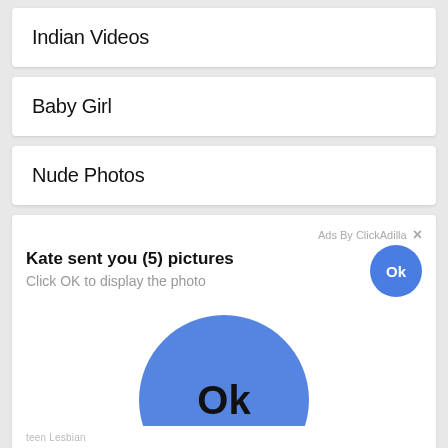Indian Videos
Baby Girl
Nude Photos
[Figure (screenshot): Ad overlay from ClickAdilla showing 'Kate sent you (5) pictures' with two Ok buttons (small blue circle and large blue circle), a close X, and footer text '2sd'. Bottom strip shows partial text 'teen lesbian ...']